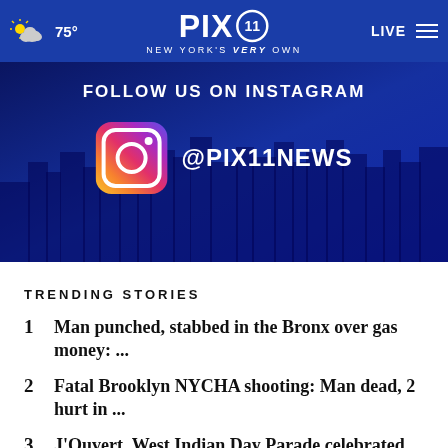75° PIX11 NEW YORK'S VERY OWN LIVE
[Figure (screenshot): Instagram follow banner with NYC skyline background, Instagram logo, and @PIX11NEWS handle]
TRENDING STORIES
1 Man punched, stabbed in the Bronx over gas money: ...
2 Fatal Brooklyn NYCHA shooting: Man dead, 2 hurt in ...
3 J'Ouvert, West Indian Day Parade celebrated in Brooklyn